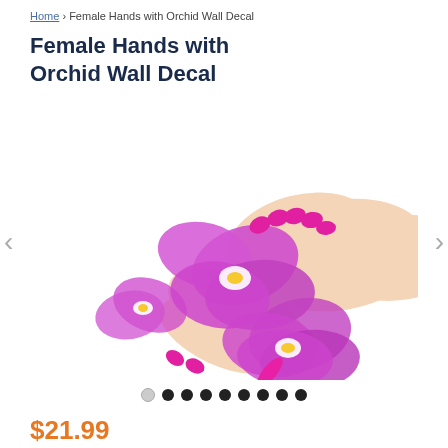Home › Female Hands with Orchid Wall Decal
Female Hands with Orchid Wall Decal
[Figure (photo): Female hands with magenta-painted nails holding pink/purple orchid flowers against a white background. Two hands are visible, one from each side of the image.]
$21.99